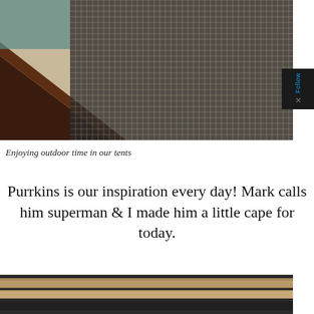[Figure (photo): Close-up photo of a mesh/screen tent material with dark brown wooden frame visible, showing a grid-pattern mesh against a light background.]
Enjoying outdoor time in our tents
Purrkins is our inspiration every day! Mark calls him superman & I made him a little cape for today.
[Figure (photo): Photo showing wooden planks/decking and dark carpet or mat material, appearing to be floor or step area.]